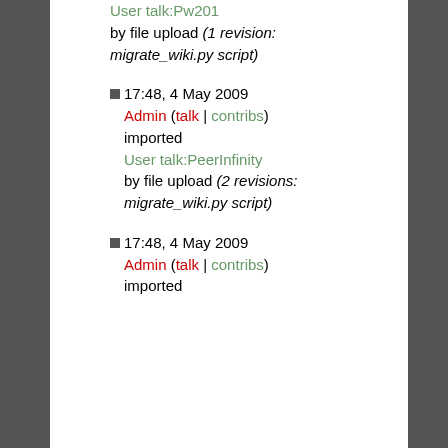User talk:Pw201 by file upload (1 revision: migrate_wiki.py script)
17:48, 4 May 2009 Admin (talk | contribs) imported User talk:PeerInfinity by file upload (2 revisions: migrate_wiki.py script)
17:48, 4 May 2009 Admin (talk | contribs) imported